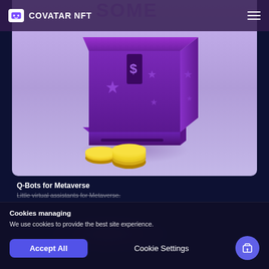COVATAR NFT
[Figure (illustration): 3D purple cube Q-Bot with a dollar sign slot and star decorations, two gold coins in front, on a lavender background]
Q-Bots for Metaverse
Little virtual assistants for Metaverse.
Cookies managing
We use cookies to provide the best site experience.
Accept All
Cookie Settings